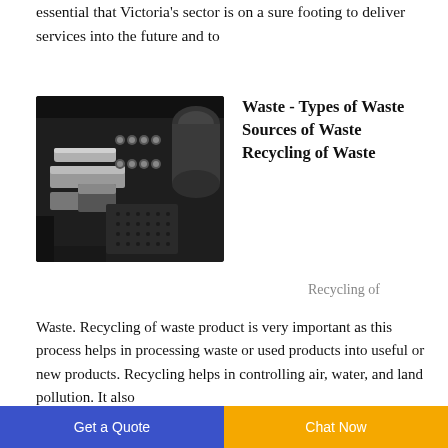essential that Victoria's sector is on a sure footing to deliver services into the future and to
[Figure (photo): Close-up photo of industrial machinery parts with metal components, bolts and perforated metal plate]
Waste - Types of Waste Sources of Waste Recycling of Waste
Recycling of Waste. Recycling of waste product is very important as this process helps in processing waste or used products into useful or new products. Recycling helps in controlling air, water, and land pollution. It also